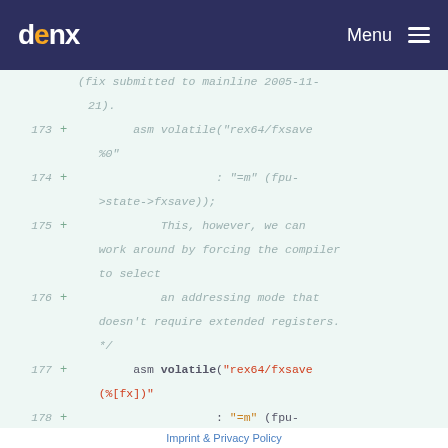denx  Menu
[Figure (screenshot): Code diff viewer showing lines 173-180 of a kernel patch for fpu state fxsave with added lines in green background, line numbers in gray italic, plus signs in green, code in monospace with red and orange string highlights]
Imprint & Privacy Policy